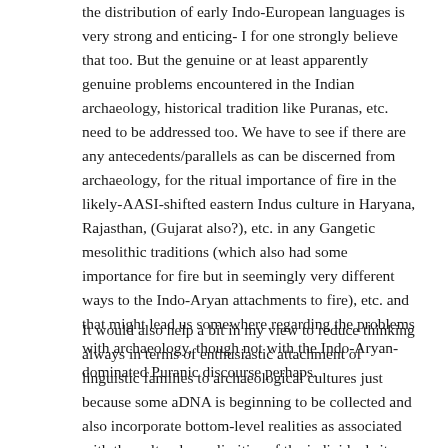the distribution of early Indo-European languages is very strong and enticing- I for one strongly believe that too. But the genuine or at least apparently genuine problems encountered in the Indian archaeology, historical tradition like Puranas, etc. need to be addressed too. We have to see if there are any antecedents/parallels as can be discerned from archaeology, for the ritual importance of fire in the likely-AASI-shifted eastern Indus culture in Haryana, Rajasthan, (Gujarat also?), etc. in any Gangetic mesolithic traditions (which also had some importance for fire but in seemingly very different ways to the Indo-Aryan attachments to fire), etc. and that might lead us somewhere regarding the problems with archaeology, though not with the Indo-Aryan-dominated Puranic discourse perhaps.
It would also help a bit in my view to reduce thinking always in terms of enthusiastic attachment of linguistic families to archaeological cultures just because some aDNA is beginning to be collected and also incorporate bottom-level realities as associated with the cultural peculiarities of the individual sites